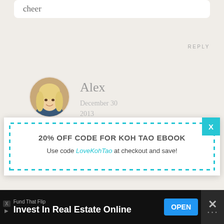cheer
REPLY
[Figure (photo): Circular avatar photo of a blonde woman named Alex smiling]
Alex
December 30 2013
Thanks so much
anytime soon 🙂
REPLY
20% OFF CODE FOR KOH TAO EBOOK
Use code LoveKohTao at checkout and save!
Fund That Flip
Invest In Real Estate Online
OPEN